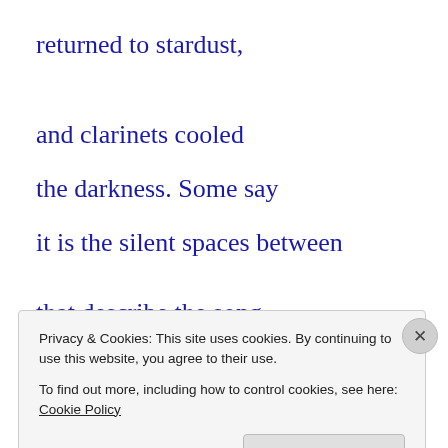returned to stardust,
and clarinets cooled
the darkness. Some say
it is the silent spaces between
that describe the song
Privacy & Cookies: This site uses cookies. By continuing to use this website, you agree to their use.
To find out more, including how to control cookies, see here: Cookie Policy